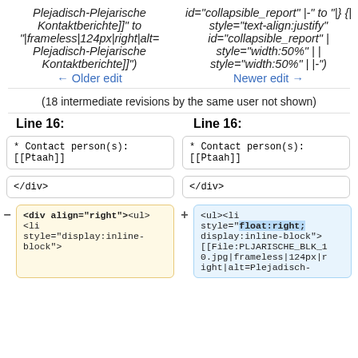Plejadisch-Plejarische Kontaktberichte]]" to "|frameless|124px|right|alt=Plejadisch-Plejarische Kontaktberichte]]")
id="collapsible_report" |-" to "|}  {| style="text-align:justify" id="collapsible_report" | style="width:50%" | | style="width:50%" | |-")
← Older edit
Newer edit →
(18 intermediate revisions by the same user not shown)
Line 16:
Line 16:
* Contact person(s): [[Ptaah]]
* Contact person(s): [[Ptaah]]
</div>
</div>
<div align="right"><ul> <li style="display:inline-block">
<ul><li style="float:right; display:inline-block"> [[File:PLJARISCHE_BLK_10.jpg|frameless|124px|right|alt=Plejadisch-